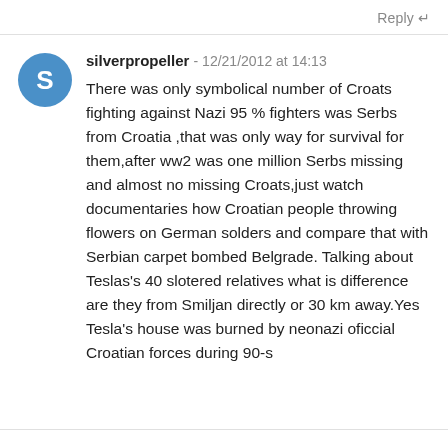Reply ↵
silverpropeller - 12/21/2012 at 14:13
There was only symbolical number of Croats fighting against Nazi 95 % fighters was Serbs from Croatia ,that was only way for survival for them,after ww2 was one million Serbs missing and almost no missing Croats,just watch documentaries how Croatian people throwing flowers on German solders and compare that with Serbian carpet bombed Belgrade. Talking about Teslas's 40 slotered relatives what is difference are they from Smiljan directly or 30 km away.Yes Tesla's house was burned by neonazi oficcial Croatian forces during 90-s